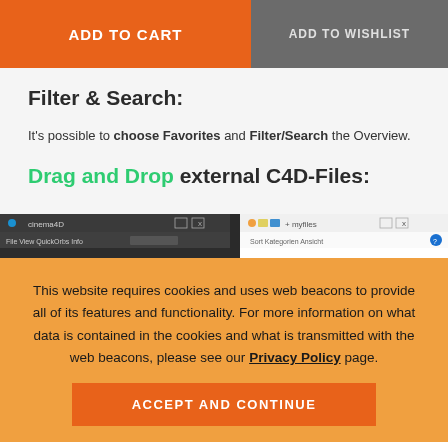ADD TO CART
ADD TO WISHLIST
Filter & Search:
It's possible to choose Favorites and Filter/Search the Overview.
Drag and Drop external C4D-Files:
[Figure (screenshot): Screenshot strip showing Cinema4D application window and file manager window side by side]
This website requires cookies and uses web beacons to provide all of its features and functionality. For more information on what data is contained in the cookies and what is transmitted with the web beacons, please see our Privacy Policy page.
ACCEPT AND CONTINUE